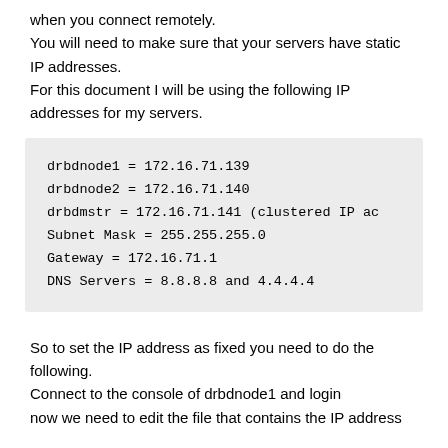when you connect remotely.
You will need to make sure that your servers have static IP addresses.
For this document I will be using the following IP addresses for my servers.
drbdnode1 = 172.16.71.139
drbdnode2 = 172.16.71.140
drbdmstr = 172.16.71.141 (clustered IP ac
Subnet Mask = 255.255.255.0
Gateway = 172.16.71.1
DNS Servers = 8.8.8.8 and 4.4.4.4
So to set the IP address as fixed you need to do the following.
Connect to the console of drbdnode1 and login
now we need to edit the file that contains the IP address